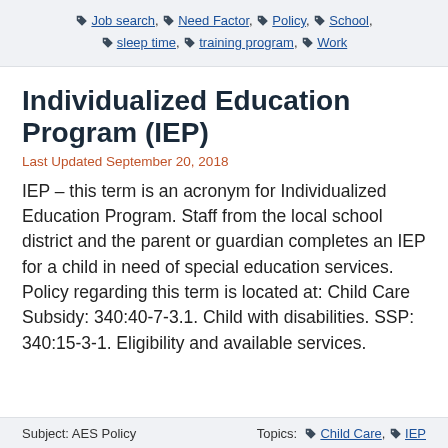Job search, Need Factor, Policy, School, sleep time, training program, Work
Individualized Education Program (IEP)
Last Updated September 20, 2018
IEP – this term is an acronym for Individualized Education Program. Staff from the local school district and the parent or guardian completes an IEP for a child in need of special education services. Policy regarding this term is located at: Child Care Subsidy: 340:40-7-3.1. Child with disabilities. SSP: 340:15-3-1. Eligibility and available services.
Subject: AES Policy    Topics: Child Care, IEP